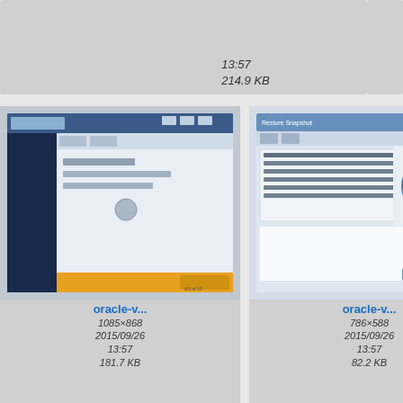[Figure (screenshot): Partial top row showing file thumbnails with times 13:57 and file sizes 140.6 KB, 214.9 KB]
[Figure (screenshot): oracle-v... screenshot thumbnail, 1085x868, 2015/09/26 13:57, 181.7 KB]
[Figure (screenshot): oracle-v... screenshot thumbnail, 786x588, 2015/09/26 13:57, 82.2 KB]
[Figure (screenshot): oracle-v... partial right column thumbnail]
[Figure (screenshot): oracle-v... screenshot thumbnail, 435x382, 2015/09/26 13:57]
[Figure (screenshot): oracle-v... screenshot thumbnail, 435x382, 2015/09/26 13:57]
[Figure (screenshot): oracle-v... partial right column thumbnail, 2015/09/26]